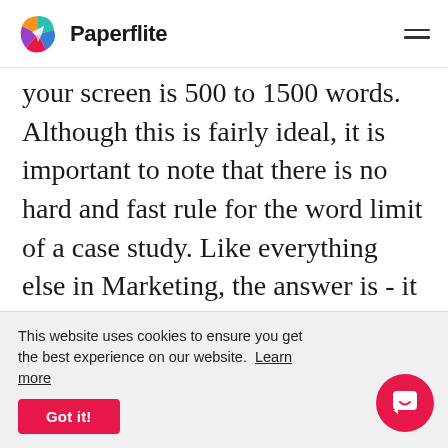Paperflite
your screen is 500 to 1500 words. Although this is fairly ideal, it is important to note that there is no hard and fast rule for the word limit of a case study. Like everything else in Marketing, the answer is - it depends.

Depends on various factors like the
This website uses cookies to ensure you get the best experience on our website. Learn more
Got it!